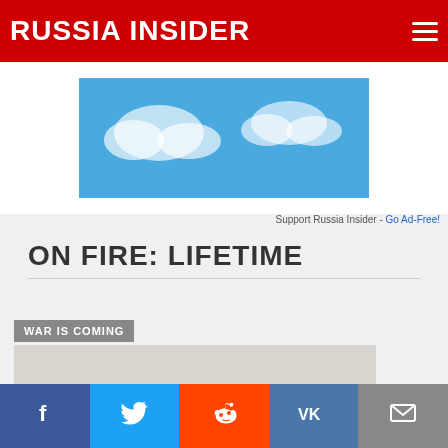RUSSIA INSIDER
[Figure (photo): Advertisement banner with blue sky and clouds background]
Support Russia Insider - Go Ad-Free!
ON FIRE: LIFETIME
WAR IS COMING
[Figure (photo): Soldiers in camouflage and helmets sitting on a military tank or armored vehicle, photographed outdoors]
Social share buttons: Facebook, Twitter, Reddit, VK, Email